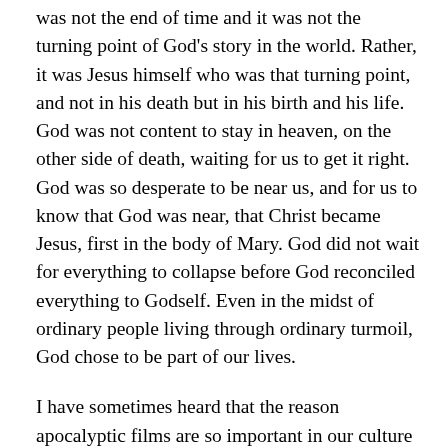was not the end of time and it was not the turning point of God's story in the world. Rather, it was Jesus himself who was that turning point, and not in his death but in his birth and his life. God was not content to stay in heaven, on the other side of death, waiting for us to get it right. God was so desperate to be near us, and for us to know that God was near, that Christ became Jesus, first in the body of Mary. God did not wait for everything to collapse before God reconciled everything to Godself. Even in the midst of ordinary people living through ordinary turmoil, God chose to be part of our lives.
I have sometimes heard that the reason apocalyptic films are so important in our culture is that “it’s easier to imagine the end of the world than it is to imagine the end of capitalism.” The fact that, even in scriptural times, people sensed that society was fragile and on the verge of great change and even collapse, makes me suspect that apocalyptic imagination is part of the human condition. We seem to